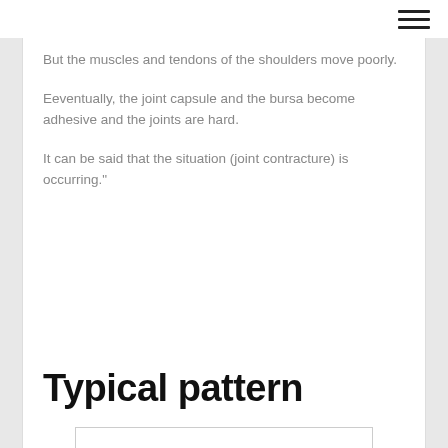But the muscles and tendons of the shoulders move poorly.
Eeventually, the joint capsule and the bursa become adhesive and the joints are hard.
It can be said that the situation (joint contracture) is occurring."
Typical pattern